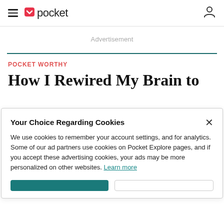≡ 🏷 pocket (user icon)
Advertisement
POCKET WORTHY
How I Rewired My Brain to
Your Choice Regarding Cookies
We use cookies to remember your account settings, and for analytics. Some of our ad partners use cookies on Pocket Explore pages, and if you accept these advertising cookies, your ads may be more personalized on other websites. Learn more